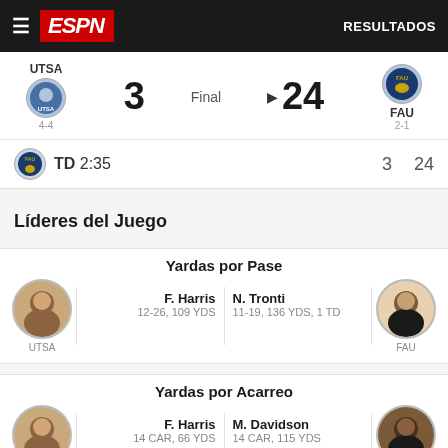ESPN — RESULTADOS
UTSA 4-4   3   Final   ▶   24   FAU 2-1
TD 2:35   3   24
Líderes del Juego
Yardas por Pase
F. Harris 12-26, 109 YDS | N. Tronti 11-19, 136 YDS, 1 TD — UTSA / FAU
Yardas por Acarreo
F. Harris 14 CAR, 66 YDS | M. Davidson 14 CAR, 115 YDS — UTSA / FAU
Yardas recibidas